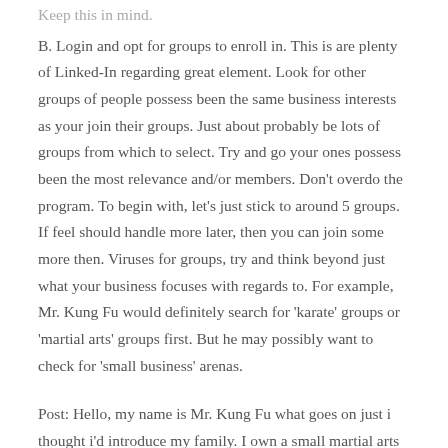Keep this in mind.
B. Login and opt for groups to enroll in. This is are plenty of Linked-In regarding great element. Look for other groups of people possess been the same business interests as your join their groups. Just about probably be lots of groups from which to select. Try and go your ones possess been the most relevance and/or members. Don't overdo the program. To begin with, let's just stick to around 5 groups. If feel should handle more later, then you can join some more then. Viruses for groups, try and think beyond just what your business focuses with regards to. For example, Mr. Kung Fu would definitely search for 'karate' groups or 'martial arts' groups first. But he may possibly want to check for 'small business' arenas.
Post: Hello, my name is Mr. Kung Fu what goes on just i thought i'd introduce my family. I own a small martial arts school in Seattle, Wa. I have about 35 students and happen to be in business seo services for small business as much as 14 seasons. I